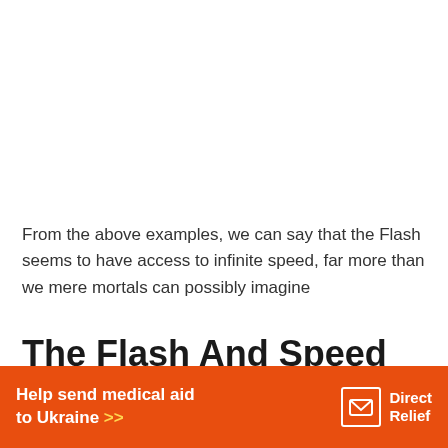From the above examples, we can say that the Flash seems to have access to infinite speed, far more than we mere mortals can possibly imagine
The Flash And Speed Force
Many people think that the Scarlet Speedster (The Flash)
[Figure (infographic): Orange advertisement banner for Direct Relief: 'Help send medical aid to Ukraine >>' with Direct Relief logo (box with envelope icon) on right side]